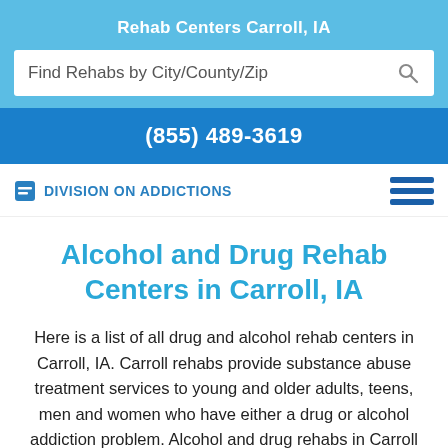Rehab Centers Carroll, IA
Find Rehabs by City/County/Zip
(855) 489-3619
Division On Addictions
Alcohol and Drug Rehab Centers in Carroll, IA
Here is a list of all drug and alcohol rehab centers in Carroll, IA. Carroll rehabs provide substance abuse treatment services to young and older adults, teens, men and women who have either a drug or alcohol addiction problem. Alcohol and drug rehabs in Carroll